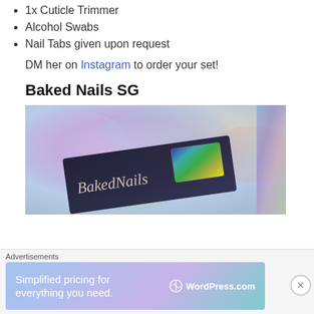1x Cuticle Trimmer
Alcohol Swabs
Nail Tabs given upon request
DM her on Instagram to order your set!
Baked Nails SG
[Figure (photo): Photo showing a 'BakedNails' branded box/packaging on an iridescent holographic purple-pink background with a holographic rainbow sticker.]
Advertisements
[Figure (other): WordPress.com advertisement banner: 'Simplified pricing for everything you need.' with WordPress.com logo on gradient blue-purple background.]